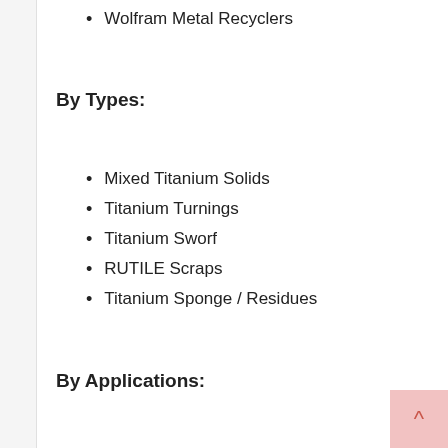Wolfram Metal Recyclers
By Types:
Mixed Titanium Solids
Titanium Turnings
Titanium Sworf
RUTILE Scraps
Titanium Sponge / Residues
By Applications: